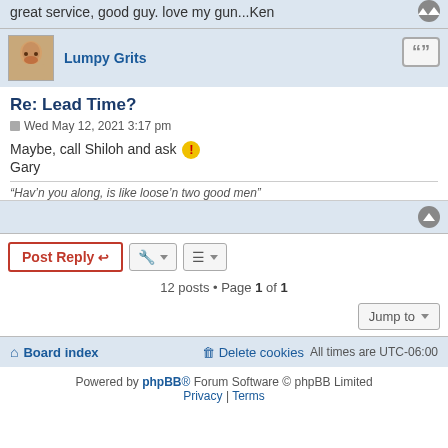great service, good guy. love my gun...Ken
Lumpy Grits
Re: Lead Time?
Wed May 12, 2021 3:17 pm
Maybe, call Shiloh and ask 🔔
Gary
"Hav'n you along, is like loose'n two good men"
12 posts • Page 1 of 1
Board index   Delete cookies   All times are UTC-06:00
Powered by phpBB® Forum Software © phpBB Limited
Privacy | Terms